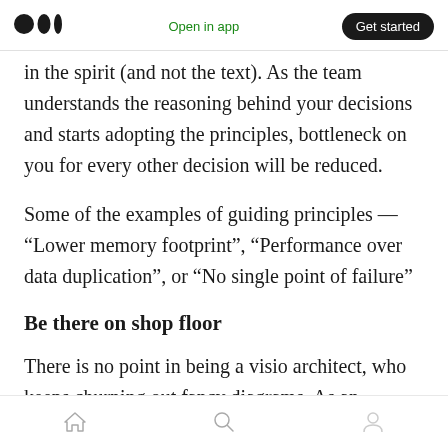Medium logo | Open in app | Get started
in the spirit (and not the text). As the team understands the reasoning behind your decisions and starts adopting the principles, bottleneck on you for every other decision will be reduced.
Some of the examples of guiding principles — “Lower memory footprint”, “Performance over data duplication”, or “No single point of failure”
Be there on shop floor
There is no point in being a visio architect, who keeps churning out fancy diagrams. As an
Home | Search | Profile